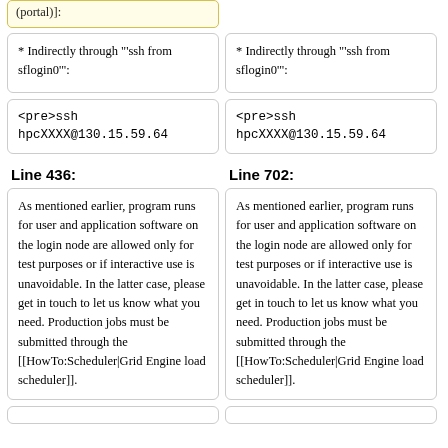(portal)]:
* Indirectly through "'ssh from sflogin0"':
* Indirectly through "'ssh from sflogin0"':
<pre>ssh hpcXXXX@130.15.59.64
<pre>ssh hpcXXXX@130.15.59.64
Line 436:
Line 702:
As mentioned earlier, program runs for user and application software on the login node are allowed only for test purposes or if interactive use is unavoidable. In the latter case, please get in touch to let us know what you need. Production jobs must be submitted through the [[HowTo:Scheduler|Grid Engine load scheduler]].
As mentioned earlier, program runs for user and application software on the login node are allowed only for test purposes or if interactive use is unavoidable. In the latter case, please get in touch to let us know what you need. Production jobs must be submitted through the [[HowTo:Scheduler|Grid Engine load scheduler]].